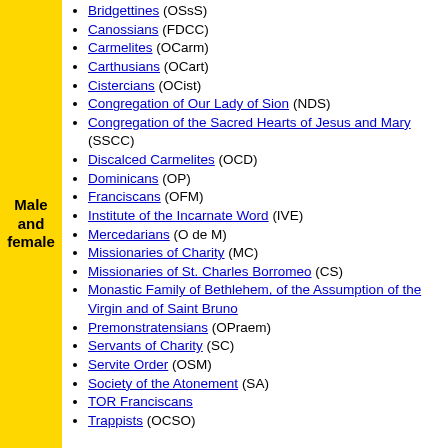Male and female
Bridgettines (OSsS)
Canossians (FDCC)
Carmelites (OCarm)
Carthusians (OCart)
Cistercians (OCist)
Congregation of Our Lady of Sion (NDS)
Congregation of the Sacred Hearts of Jesus and Mary (SSCC)
Discalced Carmelites (OCD)
Dominicans (OP)
Franciscans (OFM)
Institute of the Incarnate Word (IVE)
Mercedarians (O de M)
Missionaries of Charity (MC)
Missionaries of St. Charles Borromeo (CS)
Monastic Family of Bethlehem, of the Assumption of the Virgin and of Saint Bruno
Premonstratensians (OPraem)
Servants of Charity (SC)
Servite Order (OSM)
Society of the Atonement (SA)
TOR Franciscans
Trappists (OCSO)